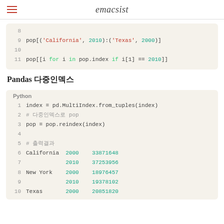emacsist
[Figure (screenshot): Python code block (partial, top) showing lines 8-11 with MultiIndex slicing: pop[('California', 2010):('Texas', 2000)] and pop[[i for i in pop.index if i[1] == 2010]]]
Pandas 다중인덱스
[Figure (screenshot): Python code block showing lines 1-10: index = pd.MultiIndex.from_tuples(index), pop = pop.reindex(index), and output data for California, New York, Texas with years 2000 and 2010 and population values]